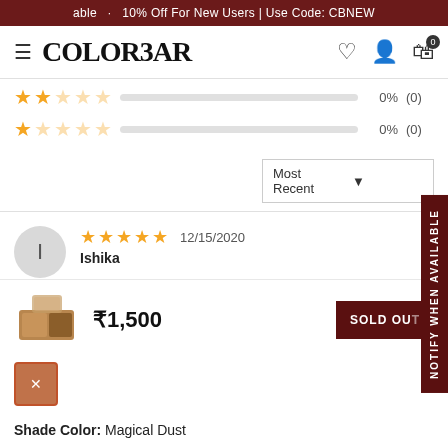10% Off For New Users | Use Code: CBNEW
[Figure (logo): Colorbar brand logo with hamburger menu icon]
2 stars: 0% (0)
1 star: 0% (0)
Most Recent dropdown selector
[Figure (other): Reviewer avatar circle with letter I]
★★★★★ 12/15/2020
Ishika
₹1,500
SOLD OUT
[Figure (other): Orange-brown color swatch with X mark]
Shade Color: Magical Dust
NOTIFY WHEN AVAILABLE